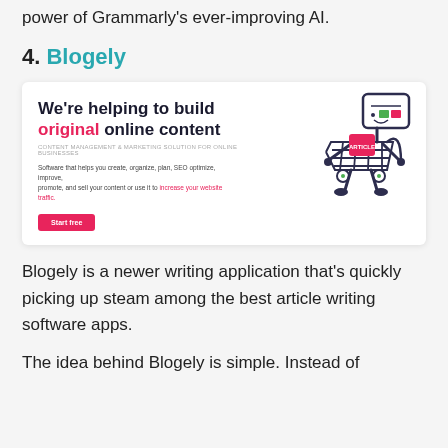power of Grammarly's ever-improving AI.
4. Blogely
[Figure (screenshot): Screenshot of Blogely website homepage showing the headline 'We're helping to build original online content', subheadline 'CONTENT MANAGEMENT & MARKETING SOLUTION FOR ONLINE BUSINESSES', body text about the software features with a pink link 'increase your website traffic.', a pink 'Start free' button, and an illustration of a shopping cart character with a credit card head on the right side.]
Blogely is a newer writing application that's quickly picking up steam among the best article writing software apps.
The idea behind Blogely is simple. Instead of